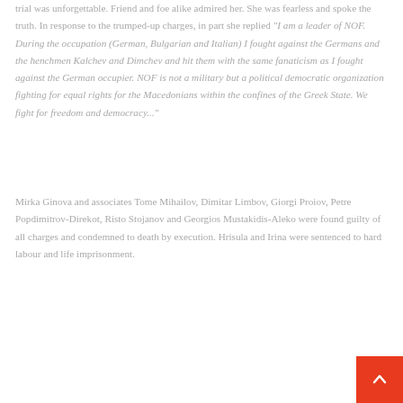trial was unforgettable. Friend and foe alike admired her. She was fearless and spoke the truth. In response to the trumped-up charges, in part she replied "I am a leader of NOF. During the occupation (German, Bulgarian and Italian) I fought against the Germans and the henchmen Kalchev and Dimchev and hit them with the same fanaticism as I fought against the German occupier. NOF is not a military but a political democratic organization fighting for equal rights for the Macedonians within the confines of the Greek State. We fight for freedom and democracy..."
Mirka Ginova and associates Tome Mihailov, Dimitar Limbov, Giorgi Proiov, Petre Popdimitrov-Direkot, Risto Stojanov and Georgios Mustakidis-Aleko were found guilty of all charges and condemned to death by execution. Hrisula and Irina were sentenced to hard labour and life imprisonment.